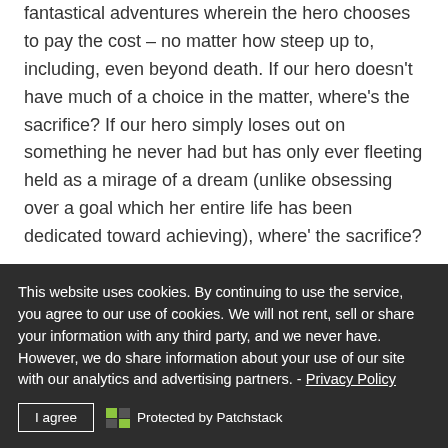don't forget that these are supposed to be heroic and fantastical adventures wherein the hero chooses to pay the cost – no matter how steep up to, including, even beyond death. If our hero doesn't have much of a choice in the matter, where's the sacrifice? If our hero simply loses out on something he never had but has only ever fleeting held as a mirage of a dream (unlike obsessing over a goal which her entire life has been dedicated toward achieving), where' the sacrifice?
Here's some well-known ancient tales of heroic sacrifice to
This website uses cookies. By continuing to use the service, you agree to our use of cookies. We will not rent, sell or share your information with any third party, and we never have. However, we do share information about your use of our site with our analytics and advertising partners. - Privacy Policy
I agree   Protected by Patchstack